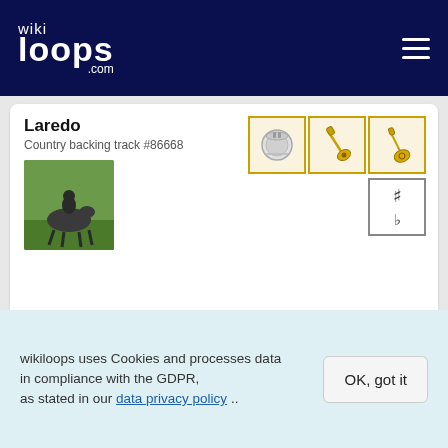wikiloops.com
Laredo
Country backing track #86668
[Figure (photo): Person on horseback outdoors]
Meter: 4/4
Tempo: 110 BPM
Country Fantasy-Remix
Country backing track #164792
[Figure (photo): Three images: red rose, cello close-up, reclining figure]
wikiloops uses Cookies and processes data in compliance with the GDPR, as stated in our data privacy policy ..